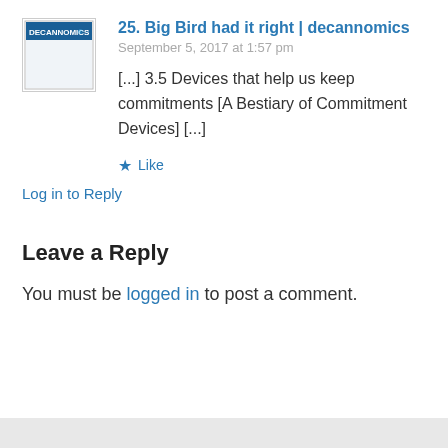25. Big Bird had it right | decannomics
September 5, 2017 at 1:57 pm
[...] 3.5 Devices that help us keep commitments [A Bestiary of Commitment Devices] [...]
★ Like
Log in to Reply
Leave a Reply
You must be logged in to post a comment.